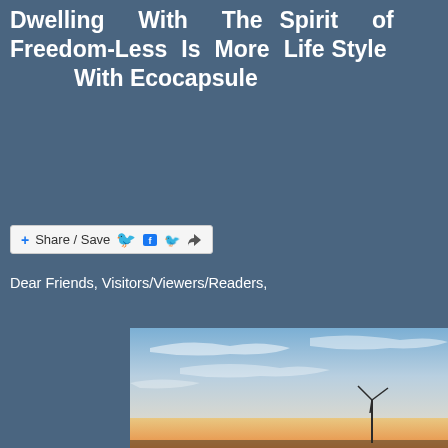Dwelling With The Spirit of Freedom-Less Is More Life Style With Ecocapsule
Share / Save
Dear Friends, Visitors/Viewers/Readers,
[Figure (photo): Outdoor photo showing a dramatic sky with wispy clouds and warm sunset light near the horizon, with a small wind turbine silhouette visible in the lower right portion of the image]